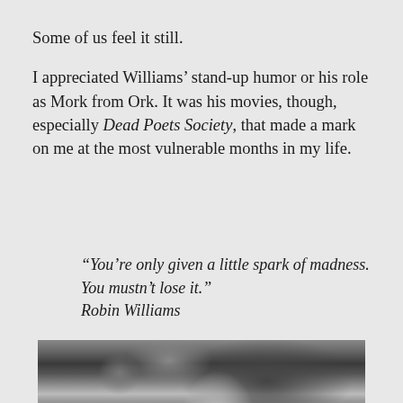Some of us feel it still.

I appreciated Williams’ stand-up humor or his role as Mork from Ork. It was his movies, though, especially Dead Poets Society, that made a mark on me at the most vulnerable months in my life.
“You’re only given a little spark of madness. You mustn’t lose it.” Robin Williams
[Figure (photo): Black and white photograph of a person, appearing to be a close-up portrait showing hair and face from below, partially visible at the bottom of the page.]